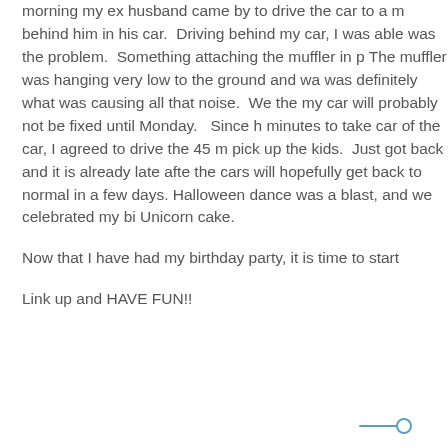morning my ex husband came by to drive the car to a m behind him in his car.  Driving behind my car, I was able was the problem.  Something attaching the muffler in p The muffler was hanging very low to the ground and wa was definitely what was causing all that noise.  We the my car will probably not be fixed until Monday.   Since h minutes to take car of the car, I agreed to drive the 45 m pick up the kids.  Just got back and it is already late afte the cars will hopefully get back to normal in a few days. Halloween dance was a blast, and we celebrated my bi Unicorn cake.
Now that I have had my birthday party, it is time to start
Link up and HAVE FUN!!
[Figure (illustration): Small decorative icon: a horizontal line with a circle at the right end, drawn in teal/blue color]